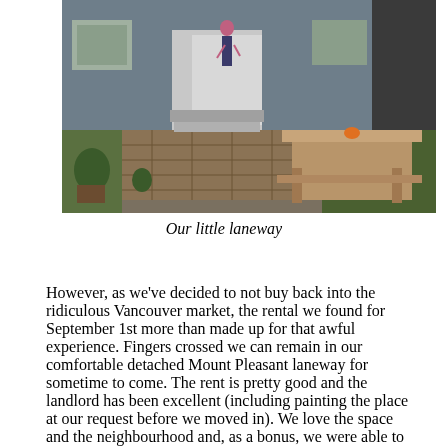[Figure (photo): Outdoor photo of a laneway house backyard showing a wooden picnic table on grass, brick paving, potted plants, and a person standing near the doorway of a house with grey siding]
Our little laneway
However, as we've decided to not buy back into the ridiculous Vancouver market, the rental we found for September 1st more than made up for that awful experience. Fingers crossed we can remain in our comfortable detached Mount Pleasant laneway for sometime to come. The rent is pretty good and the landlord has been excellent (including painting the place at our request before we moved in). We love the space and the neighbourhood and, as a bonus, we were able to report the old landlord to the city,